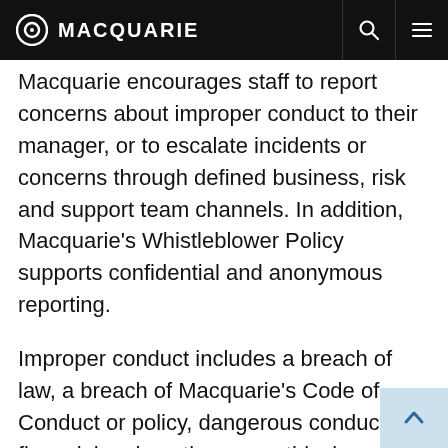MACQUARIE
Macquarie encourages staff to report concerns about improper conduct to their manager, or to escalate incidents or concerns through defined business, risk and support team channels. In addition, Macquarie’s Whistleblower Policy supports confidential and anonymous reporting.
Improper conduct includes a breach of law, a breach of Macquarie's Code of Conduct or policy, dangerous conduct, financial malpractice or unethical behaviour.
Macquarie staff, including any employee or officer of Macquarie Group Limited or its